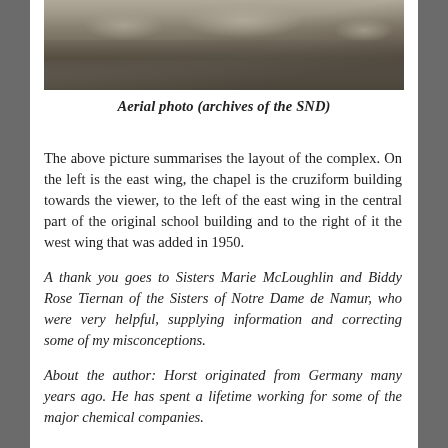[Figure (photo): Black and white aerial photograph of a building complex, showing rooftops and surrounding landscape from above.]
Aerial photo (archives of the SND)
The above picture summarises the layout of the complex. On the left is the east wing, the chapel is the cruziform building towards the viewer, to the left of the east wing in the central part of the original school building and to the right of it the west wing that was added in 1950.
A thank you goes to Sisters Marie McLoughlin and Biddy Rose Tiernan of the Sisters of Notre Dame de Namur, who were very helpful, supplying information and correcting some of my misconceptions.
About the author: Horst originated from Germany many years ago. He has spent a lifetime working for some of the major chemical companies.